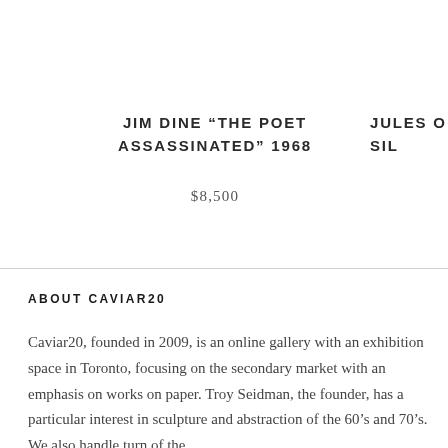JIM DINE “THE POET ASSASSINATED” 1968
$8,500
JULES O... SIL...
ABOUT CAVIAR20
Caviar20, founded in 2009, is an online gallery with an exhibition space in Toronto, focusing on the secondary market with an emphasis on works on paper. Troy Seidman, the founder, has a particular interest in sculpture and abstraction of the 60’s and 70’s. We also handle turn of the